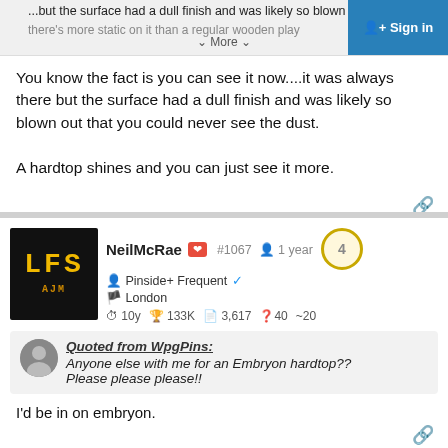...but the surface had a dull finish and was likely so blown out... More • Sign in
You know the fact is you can see it now....it was always there but the surface had a dull finish and was likely so blown out that you could never see the dust.

A hardtop shines and you can just see it more.
NeilMcRae #1067 1 year | Pinside+ Frequent | London | 10y 133K 3,617 40 20
Quoted from WpgPins: Anyone else with me for an Embryon hardtop?? Please please please!!
I'd be in on embryon.